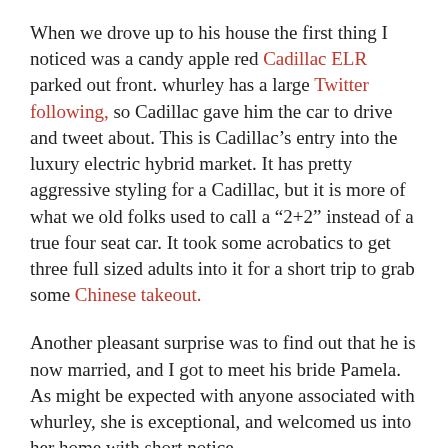When we drove up to his house the first thing I noticed was a candy apple red Cadillac ELR parked out front. whurley has a large Twitter following, so Cadillac gave him the car to drive and tweet about. This is Cadillac's entry into the luxury electric hybrid market. It has pretty aggressive styling for a Cadillac, but it is more of what we old folks used to call a "2+2" instead of a true four seat car. It took some acrobatics to get three full sized adults into it for a short trip to grab some Chinese takeout.
Another pleasant surprise was to find out that he is now married, and I got to meet his bride Pamela. As might be expected with anyone associated with whurley, she is exceptional, and welcomed us into her home with short notice.
William + Pamela // Kauai Wedding from John Hoel on Vimeo